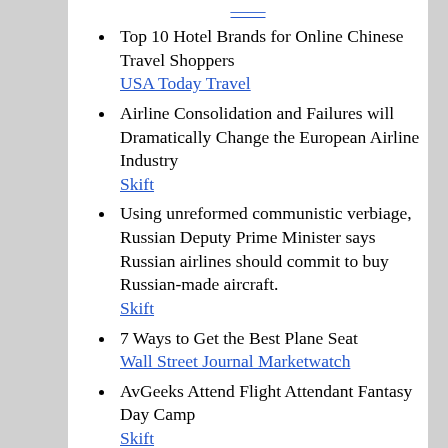Top 10 Hotel Brands for Online Chinese Travel Shoppers
USA Today Travel
Airline Consolidation and Failures will Dramatically Change the European Airline Industry
Skift
Using unreformed communistic verbiage, Russian Deputy Prime Minister says Russian airlines should commit to buy Russian-made aircraft.
Skift
7 Ways to Get the Best Plane Seat
Wall Street Journal Marketwatch
AvGeeks Attend Flight Attendant Fantasy Day Camp
Skift
United Flight Attendant Retires after 63 Years on the Job
Jumpseatnews
Not All Hotel Rates are the Same